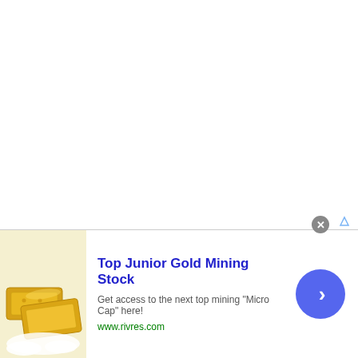[Figure (infographic): Advertisement banner for Top Junior Gold Mining Stock. Contains an image of gold bars on the left, bold blue headline text, description text, green URL, a circular close button, ads icon, and a blue circular arrow button on the right.]